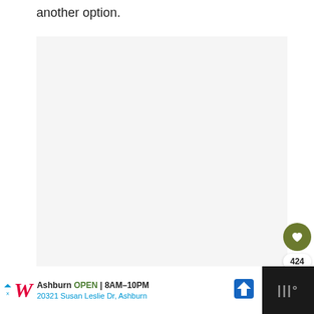another option.
[Figure (other): Large light gray placeholder image area]
[Figure (other): Heart/favorite button (olive green circle with white heart icon), count 424, and share button]
[Figure (other): Advertisement banner: Walgreens - Ashburn OPEN 8AM-10PM, 20321 Susan Leslie Dr, Ashburn, with navigation icon. Dark panel on right with icon.]